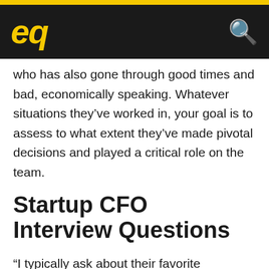eq
who has also gone through good times and bad, economically speaking. Whatever situations they've worked in, your goal is to assess to what extent they've made pivotal decisions and played a critical role on the team.
Startup CFO Interview Questions
“I typically ask about their favorite